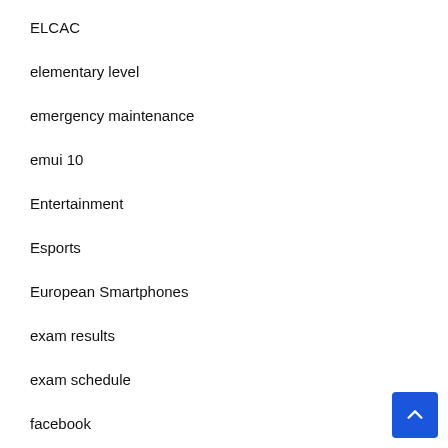ELCAC
elementary level
emergency maintenance
emui 10
Entertainment
Esports
European Smartphones
exam results
exam schedule
facebook
fernando poe
fhe
Fintech